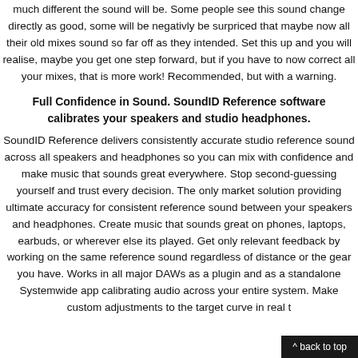much different the sound will be. Some people see this sound change directly as good, some will be negativly be surpriced that maybe now all their old mixes sound so far off as they intended. Set this up and you will realise, maybe you get one step forward, but if you have to now correct all your mixes, that is more work! Recommended, but with a warning.
Full Confidence in Sound. SoundID Reference software calibrates your speakers and studio headphones.
SoundID Reference delivers consistently accurate studio reference sound across all speakers and headphones so you can mix with confidence and make music that sounds great everywhere. Stop second-guessing yourself and trust every decision. The only market solution providing ultimate accuracy for consistent reference sound between your speakers and headphones. Create music that sounds great on phones, laptops, earbuds, or wherever else its played. Get only relevant feedback by working on the same reference sound regardless of distance or the gear you have. Works in all major DAWs as a plugin and as a standalone Systemwide app calibrating audio across your entire system. Make custom adjustments to the target curve in real t
^ back to top